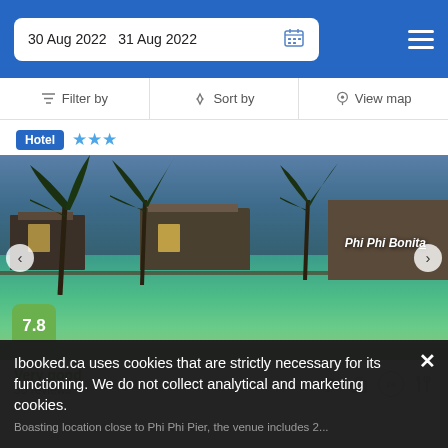30 Aug 2022  31 Aug 2022
Filter by  |  Sort by  |  View map
Hotel ★★★
[Figure (photo): Hotel pool at dusk with palm trees and buildings in background. Score badge showing 7.8. Phi Phi Bonita sign visible on right building.]
Very good
30 reviews
Ibooked.ca uses cookies that are strictly necessary for its functioning. We do not collect analytical and marketing cookies.
Boasting location close to Phi Phi Pier, the venue includes 2...